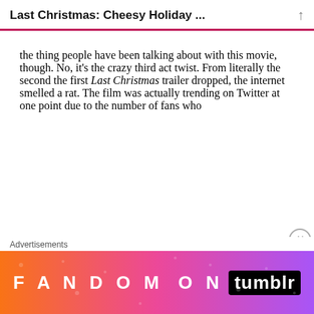Last Christmas: Cheesy Holiday ...
the thing people have been talking about with this movie, though. No, it's the crazy third act twist. From literally the second the first Last Christmas trailer dropped, the internet smelled a rat. The film was actually trending on Twitter at one point due to the number of fans who
Advertisements
[Figure (other): Fandom on Tumblr advertisement banner with colorful gradient background (orange to purple) and decorative doodles]